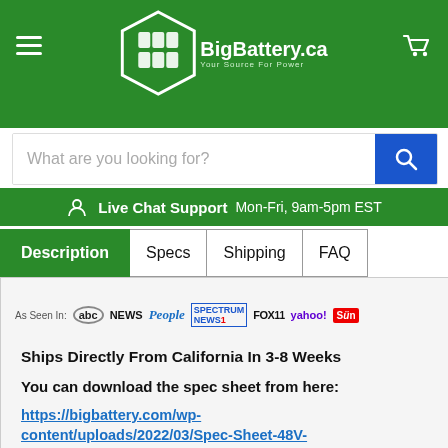BigBattery.ca - Your Source For Power
[Figure (screenshot): Search bar with 'What are you looking for?' placeholder and blue search button]
Live Chat Support  Mon-Fri, 9am-5pm EST
Description | Specs | Shipping | FAQ
[Figure (infographic): As Seen In: abc NEWS, People, Spectrum NEWS1, FOX 11 Los Angeles, yahoo! news, The Sun]
Ships Directly From California In 3-8 Weeks
You can download the spec sheet from here:
https://bigbattery.com/wp-content/uploads/2022/03/Spec-Sheet-48V-